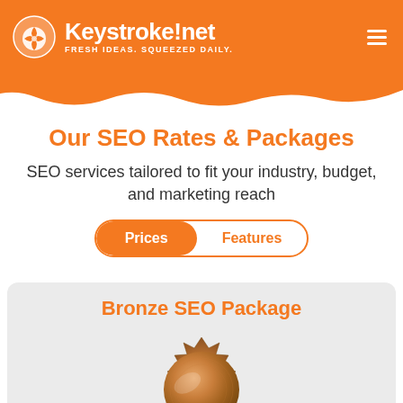[Figure (logo): Keystroke!net logo with orange circle icon and white text reading FRESH IDEAS. SQUEEZED DAILY.]
Our SEO Rates & Packages
SEO services tailored to fit your industry, budget, and marketing reach
Prices | Features
Bronze SEO Package
[Figure (illustration): Bronze wax seal / medal illustration]